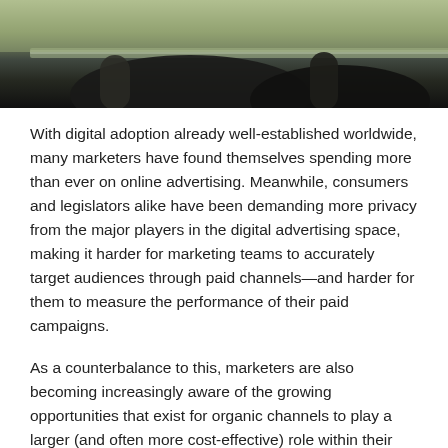[Figure (photo): Partial photo showing what appears to be a glass table or desk surface with chairs, dark background, partial view of rounded furniture edges]
With digital adoption already well-established worldwide, many marketers have found themselves spending more than ever on online advertising. Meanwhile, consumers and legislators alike have been demanding more privacy from the major players in the digital advertising space, making it harder for marketing teams to accurately target audiences through paid channels—and harder for them to measure the performance of their paid campaigns.
As a counterbalance to this, marketers are also becoming increasingly aware of the growing opportunities that exist for organic channels to play a larger (and often more cost-effective) role within their marketing strategies.
InresearchDeepcrawl conducted with Econsultancy, we